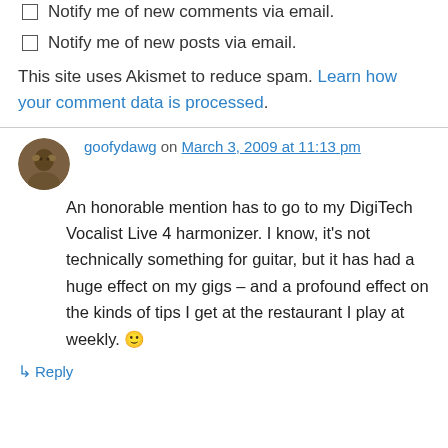Notify me of new comments via email.
Notify me of new posts via email.
This site uses Akismet to reduce spam. Learn how your comment data is processed.
goofydawg on March 3, 2009 at 11:13 pm
An honorable mention has to go to my DigiTech Vocalist Live 4 harmonizer. I know, it's not technically something for guitar, but it has had a huge effect on my gigs – and a profound effect on the kinds of tips I get at the restaurant I play at weekly. 🙂
↳ Reply